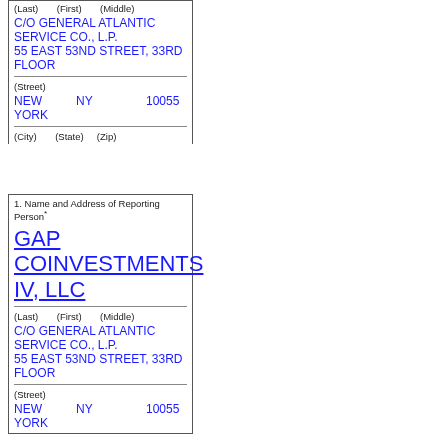(Last)   (First)   (Middle)
C/O GENERAL ATLANTIC SERVICE CO., L.P.
55 EAST 53ND STREET, 33RD FLOOR
(Street)
NEW YORK   NY   10055
(City)   (State)   (Zip)
1. Name and Address of Reporting Person*
GAP COINVESTMENTS IV, LLC
(Last)   (First)   (Middle)
C/O GENERAL ATLANTIC SERVICE CO., L.P.
55 EAST 53ND STREET, 33RD FLOOR
(Street)
NEW YORK   NY   10055